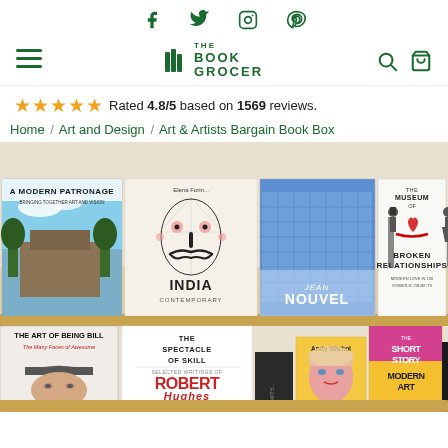Social media icons: Facebook, Twitter, Instagram, Pinterest
The Book Grocer — navigation with hamburger menu, search, and cart icons
★★★★★ Rated 4.8/5 based on 1569 reviews.
Home / Art and Design / Art & Artists Bargain Book Box
[Figure (photo): A bookshelf with two rows of art books including: A Modern Patronage, India Contemporary, Jean Nouvel (architecture book), The Museum of Broken Relationships, The Art of Being Bill – The Many Faces of Awesome, The Spectacle of Skill – Selected Writings of Robert Hughes, Andy Warhol book, The Short Story of Modern Art, and Sartorial.]